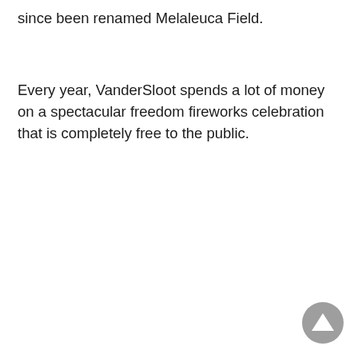since been renamed Melaleuca Field.
Every year, VanderSloot spends a lot of money on a spectacular freedom fireworks celebration that is completely free to the public.
[Figure (other): A circular grey scroll-to-top button with an upward-pointing triangle arrow icon]